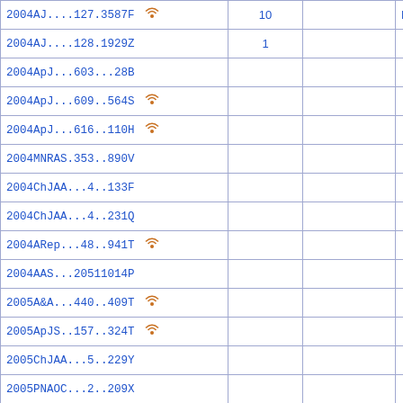| Reference | Count |  |  |
| --- | --- | --- | --- |
| 2004AJ....127.3587F [vizin] | 10 |  | D |
| 2004AJ....128.1929Z | 1 |  |  |
| 2004ApJ...603...28B |  |  |  |
| 2004ApJ...609..564S [vizin] |  |  |  |
| 2004ApJ...616..110H [vizin] |  |  |  |
| 2004MNRAS.353..890V |  |  |  |
| 2004ChJAA...4..133F |  |  |  |
| 2004ChJAA...4..231Q |  |  |  |
| 2004ARep...48..941T [vizin] |  |  |  |
| 2004AAS...20511014P |  |  |  |
| 2005A&A...440..409T [vizin] |  |  |  |
| 2005ApJS..157..324T [vizin] |  |  |  |
| 2005ChJAA...5..229Y |  |  |  |
| 2005PNAOC...2..209X |  |  |  |
| 2006A&A...445..465R [vizin] |  |  |  |
| 2006A&A...445..843G |  |  |  |
| 2006A&A...452.1107F |  |  |  |
| 2006A&A...453..829F |  |  |  |